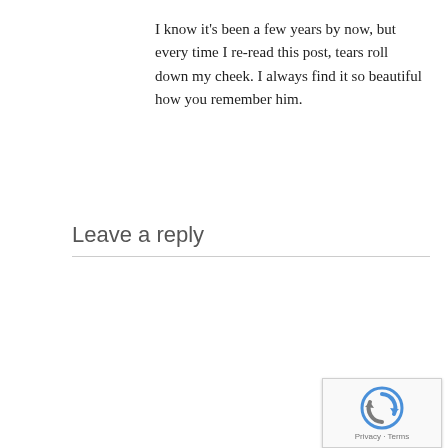I know it's been a few years by now, but every time I re-read this post, tears roll down my cheek. I always find it so beautiful how you remember him.
Leave a reply
[Figure (screenshot): Empty comment textarea input box with a reCAPTCHA badge in the bottom-right corner showing the reCAPTCHA logo and 'Privacy - Terms' text.]